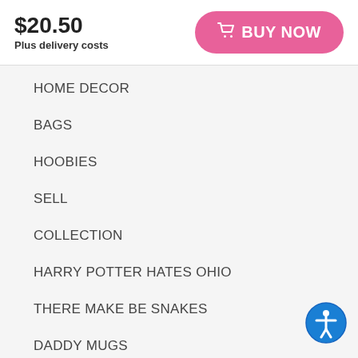$20.50
Plus delivery costs
[Figure (other): Pink rounded BUY NOW button with cart icon]
HOME DECOR
BAGS
HOOBIES
SELL
COLLECTION
HARRY POTTER HATES OHIO
THERE MAKE BE SNAKES
DADDY MUGS
GIFTS
CAMPAIGNS
[Figure (other): Blue circular accessibility icon button]